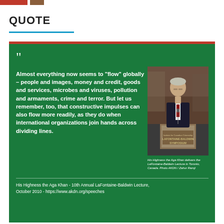QUOTE
[Figure (photo): His Highness the Aga Khan delivers the LaFontaine-Baldwin Lecture in Toronto, Canada. Photo AKDN / Zahur Ramji]
Almost everything now seems to “flow” globally – people and images, money and credit, goods and services, microbes and viruses, pollution and armaments, crime and terror. But let us remember, too, that constructive impulses can also flow more readily, as they do when international organizations join hands across dividing lines.
His Highness the Aga Khan delivers the LaFontaine-Baldwin Lecture in Toronto, Canada. Photo AKDN / Zahur Ramji
His Highness the Aga Khan - 10th Annual LaFontaine-Baldwin Lecture, October 2010 - https://www.akdn.org/speeches